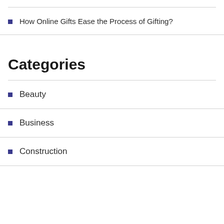How Online Gifts Ease the Process of Gifting?
Categories
Beauty
Business
Construction